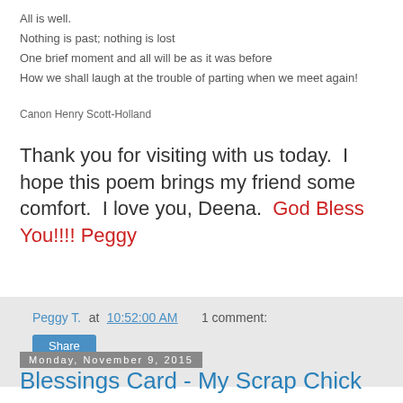All is well.
Nothing is past; nothing is lost
One brief moment and all will be as it was before
How we shall laugh at the trouble of parting when we meet again!
Canon Henry Scott-Holland
Thank you for visiting with us today.  I hope this poem brings my friend some comfort.  I love you, Deena.  God Bless You!!!! Peggy
Peggy T. at 10:52:00 AM   1 comment:
Share
Monday, November 9, 2015
Blessings Card - My Scrap Chick
If you ever use SVGs My Scrap Chick is having a wonderful sale right now.  The deal is if you order 10